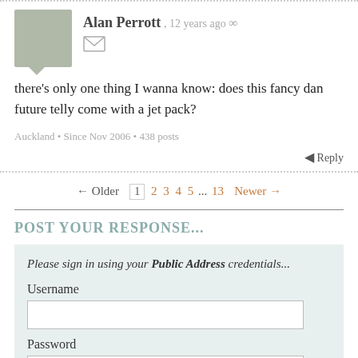Alan Perrott, 12 years ago
there's only one thing I wanna know: does this fancy dan future telly come with a jet pack?
Auckland • Since Nov 2006 • 438 posts
← Reply
← Older  1  2  3  4  5  ...  13  Newer →
POST YOUR RESPONSE...
Please sign in using your Public Address credentials...
Username
Password